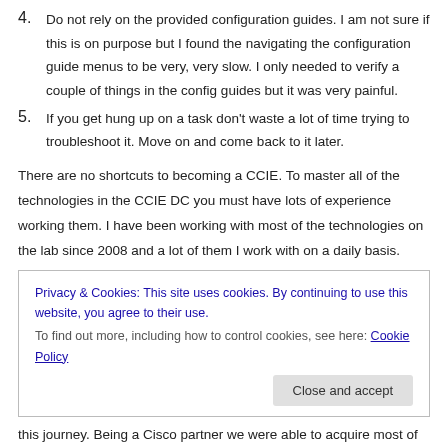4. Do not rely on the provided configuration guides. I am not sure if this is on purpose but I found the navigating the configuration guide menus to be very, very slow. I only needed to verify a couple of things in the config guides but it was very painful.
5. If you get hung up on a task don’t waste a lot of time trying to troubleshoot it. Move on and come back to it later.
There are no shortcuts to becoming a CCIE. To master all of the technologies in the CCIE DC you must have lots of experience working them. I have been working with most of the technologies on the lab since 2008 and a lot of them I work with on a daily basis.
Privacy & Cookies: This site uses cookies. By continuing to use this website, you agree to their use.
To find out more, including how to control cookies, see here: Cookie Policy
[Close and accept]
this journey. Being a Cisco partner we were able to acquire most of the